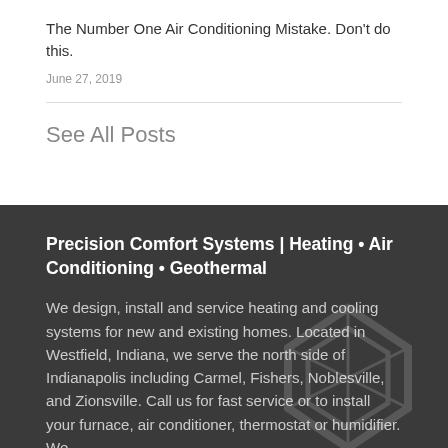The Number One Air Conditioning Mistake. Don't do this.
June 27, 2019
See All Posts
Precision Comfort Systems | Heating • Air Conditioning • Geothermal
We design, install and service heating and cooling systems for new and existing homes. Located in Westfield, Indiana, we serve the north side of Indianapolis including Carmel, Fishers, Noblesville, and Zionsville. Call us for fast service or to install your furnace, air conditioner, thermostat or humidifier. We